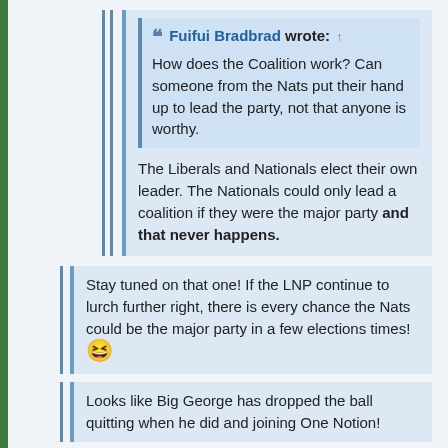Fuifui Bradbrad wrote: ↑ How does the Coalition work? Can someone from the Nats put their hand up to lead the party, not that anyone is worthy.
The Liberals and Nationals elect their own leader. The Nationals could only lead a coalition if they were the major party and that never happens.
Stay tuned on that one! If the LNP continue to lurch further right, there is every chance the Nats could be the major party in a few elections times! 😆
Looks like Big George has dropped the ball quitting when he did and joining One Notion!
He doubled his payout by losing an election as opposed to retiring. Highly lucrative quirk of the system that he